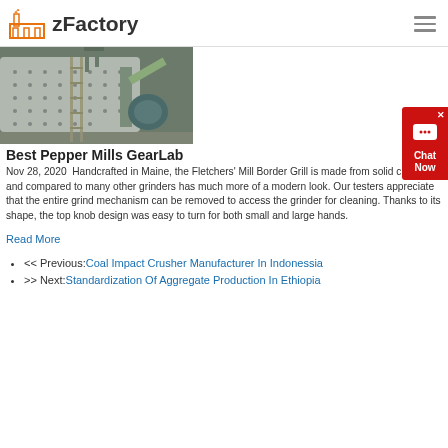zFactory
[Figure (photo): Industrial ball mill machinery in a factory setting]
Best Pepper Mills GearLab
Nov 28, 2020  Handcrafted in Maine, the Fletchers' Mill Border Grill is made from solid cherry, and compared to many other grinders has much more of a modern look. Our testers appreciate that the entire grind mechanism can be removed to access the grinder for cleaning. Thanks to its shape, the top knob design was easy to turn for both small and large hands.
Read More
<< Previous: Coal Impact Crusher Manufacturer In Indonessia
>> Next: Standardization Of Aggregate Production In Ethiopia